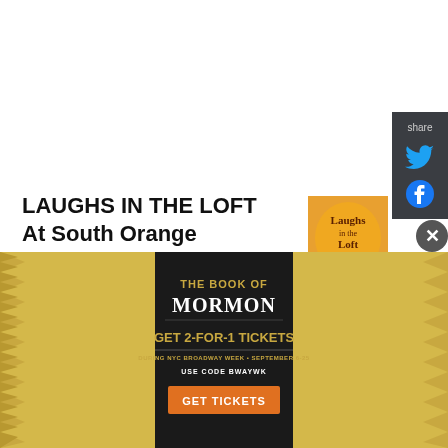[Figure (other): Share sidebar with Twitter and Facebook icons on dark background]
LAUGHS IN THE LOFT At South Orange Performing Arts Center Announces September 7 Lineup
[Figure (photo): Laughs in the Loft promotional image - orange circular logo with text 'Laughs in the Loft Hosted by Joe Larson' with a man in suit]
August 23, 2022
What's so special about September 7? Yes, sadly, it is the unofficial end of
[Figure (other): Advertisement banner for The Book of Mormon - Get 2-for-1 Tickets during NYC Broadway Week September 6-25, use code BWAYWK, Get Tickets]